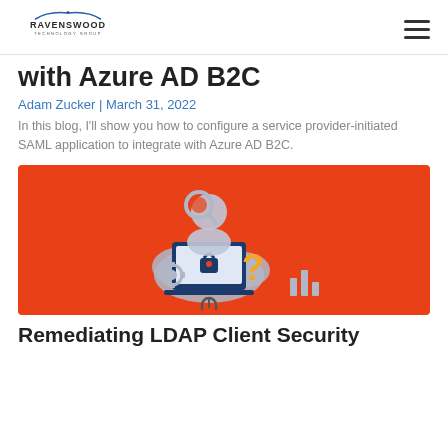Ravenswood Technology Group
with Azure AD B2C
Adam Zucker | March 31, 2022
In this blog, I'll show you how to configure a service provider-initiated SAML application to integrate with Azure AD B2C.
[Figure (illustration): Orange background hero image with a security/authentication illustration: a person with a magnifying glass, a laptop showing a lock icon, a question mark, and cloud elements.]
Remediating LDAP Client Security